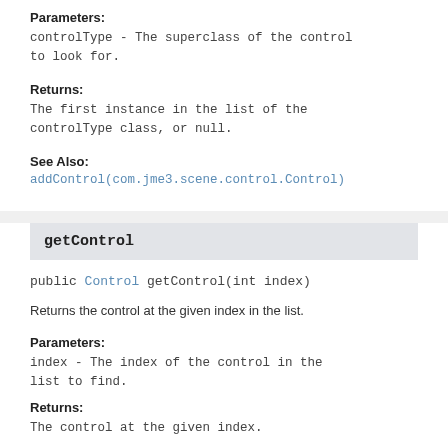Parameters:
controlType - The superclass of the control to look for.
Returns:
The first instance in the list of the controlType class, or null.
See Also:
addControl(com.jme3.scene.control.Control)
getControl
public Control getControl(int index)
Returns the control at the given index in the list.
Parameters:
index - The index of the control in the list to find.
Returns:
The control at the given index.